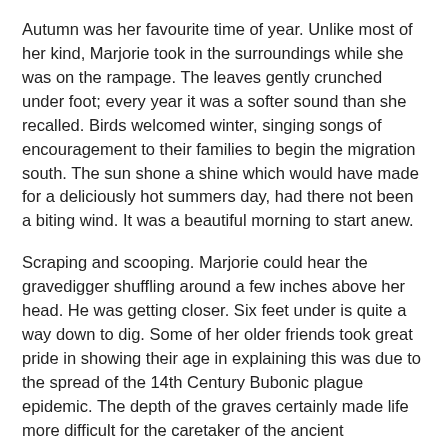Autumn was her favourite time of year. Unlike most of her kind, Marjorie took in the surroundings while she was on the rampage. The leaves gently crunched under foot; every year it was a softer sound than she recalled. Birds welcomed winter, singing songs of encouragement to their families to begin the migration south. The sun shone a shine which would have made for a deliciously hot summers day, had there not been a biting wind. It was a beautiful morning to start anew.
Scraping and scooping. Marjorie could hear the gravedigger shuffling around a few inches above her head. He was getting closer. Six feet under is quite a way down to dig. Some of her older friends took great pride in showing their age in explaining this was due to the spread of the 14th Century Bubonic plague epidemic. The depth of the graves certainly made life more difficult for the caretaker of the ancient churchyard around Halloween. At least it prevents foxes digging them up – every zombie's worst nightmare, an unpleasant early wakening for the dormant dead.
Marjorie loved her job (with 364 days annual leave who would complain?!) and couldn't wait to get started. She enjoyed the reunions, the celebratory feasting, and the frantic ways her friends lived out a full year in a day. You